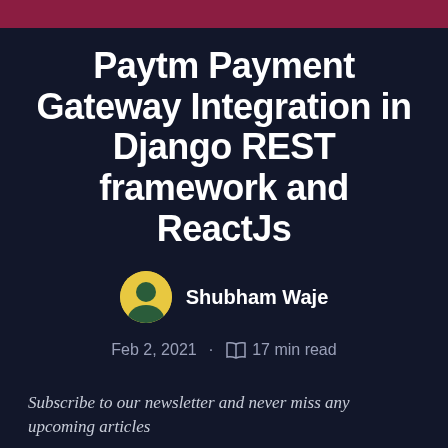Paytm Payment Gateway Integration in Django REST framework and ReactJs
Shubham Waje
Feb 2, 2021 · 17 min read
Subscribe to our newsletter and never miss any upcoming articles
Email address  SUBSCRIBE